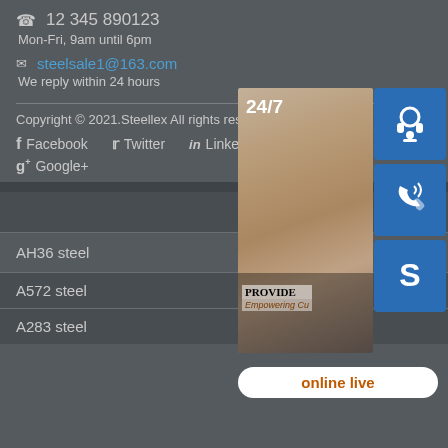12 345 890123
Mon-Fri, 9am until 6pm
steelsale1@163.com
We reply within 24 hours
Copyright © 2021.Steellex All rights reserved.
Facebook   Twitter   LinkedIn   Google+
[Figure (infographic): Customer support widget with 24/7 label, a photo of a woman with a headset, icons for headset/phone/Skype, and an 'online live' button. Shows text: PROVIDE, Empowering Cu...]
AH36 steel
A572 steel
A283 steel